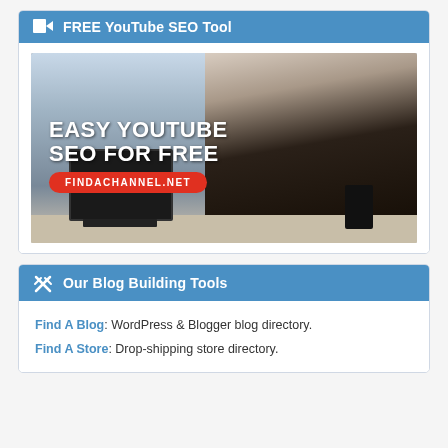FREE YouTube SEO Tool
[Figure (photo): Promotional banner image showing a professional woman in glasses looking at a laptop, with bold white text overlay reading 'EASY YOUTUBE SEO FOR FREE' and a red pill-shaped badge with 'FINDACHANNEL.NET']
Our Blog Building Tools
Find A Blog: WordPress & Blogger blog directory.
Find A Store: Drop-shipping store directory.